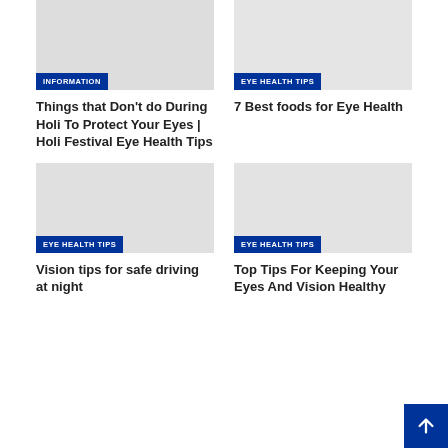[Figure (photo): Holi festival image placeholder]
INFORMATION
Things that Don't do During Holi To Protect Your Eyes | Holi Festival Eye Health Tips
[Figure (photo): Eye health foods image placeholder]
EYE HEALTH TIPS
7 Best foods for Eye Health
[Figure (photo): Night driving image placeholder]
EYE HEALTH TIPS
Vision tips for safe driving at night
[Figure (photo): Eye health tips image placeholder]
EYE HEALTH TIPS
Top Tips For Keeping Your Eyes And Vision Healthy